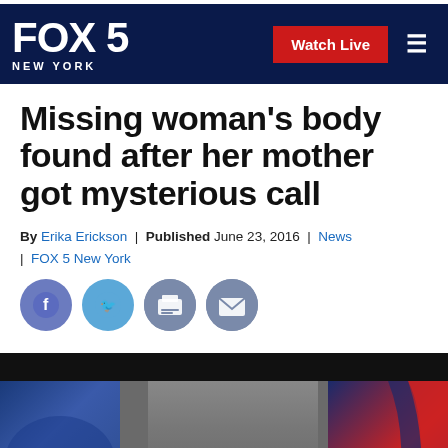FOX 5 NEW YORK | Watch Live
Missing woman's body found after her mother got mysterious call
By Erika Erickson | Published June 23, 2016 | News | FOX 5 New York
[Figure (photo): Social media share icons: Facebook, Twitter, Print, Email]
[Figure (photo): Photo of a woman against a blue/grey background with FOX 5 New York branding]